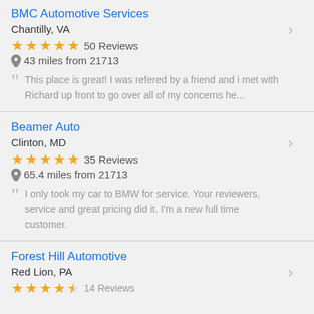BMC Automotive Services
Chantilly, VA
★★★★★ 50 Reviews
43 miles from 21713
This place is great! I was refered by a friend and i met with Richard up front to go over all of my concerns he...
Beamer Auto
Clinton, MD
★★★★★ 35 Reviews
65.4 miles from 21713
I only took my car to BMW for service. Your reviewers, service and great pricing did it. I'm a new full time customer.
Forest Hill Automotive
Red Lion, PA
★★★★★ 14 Reviews